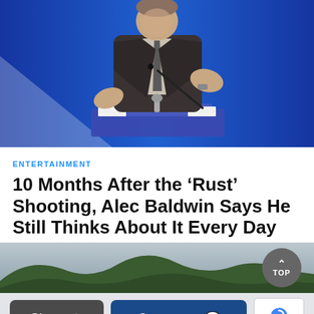[Figure (photo): Man in dark suit at podium with microphone against blue background with white triangular graphic element]
ENTERTAINMENT
10 Months After the ‘Rust’ Shooting, Alec Baldwin Says He Still Thinks About It Every Day
[Figure (photo): Landscape photo of forested hills/mountains with overcast sky, with a circular TOP button overlay]
Share
Comments